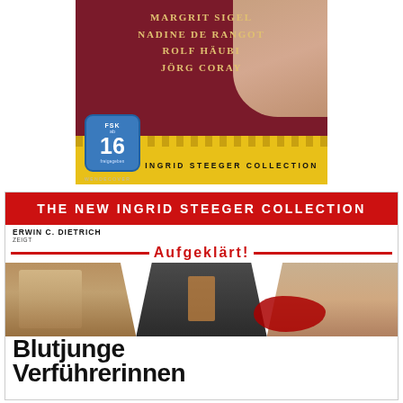[Figure (photo): Top DVD cover for Ingrid Steeger Collection showing cast names (Margrit Sigel, Nadine de Rangot, Rolf Häubi, Jörg Coray) on dark red background with yellow strip showing 'Ingrid Steeger Collection' and FSK 16 rating badge]
[Figure (photo): Bottom movie cover showing 'The New Ingrid Steeger Collection' red banner, director Erwin C. Dietrich, title 'Aufgeklärt! Blutjunge Verführerinnen' with three film stills and bold black/red text]